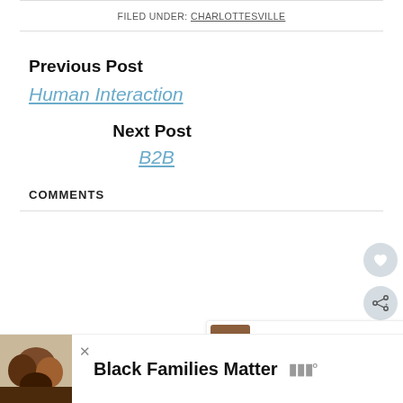FILED UNDER: CHARLOTTESVILLE
Previous Post
Human Interaction
Next Post
B2B
COMMENTS
WHAT'S NEXT → Make Do
Black Families Matter